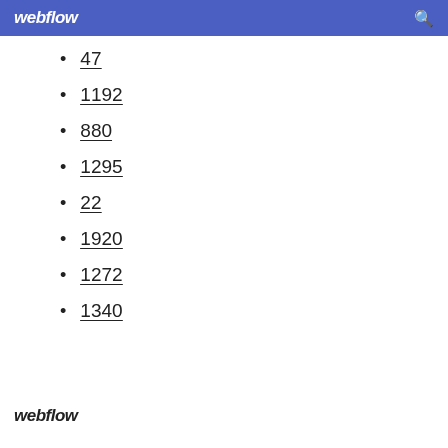webflow
47
1192
880
1295
22
1920
1272
1340
webflow